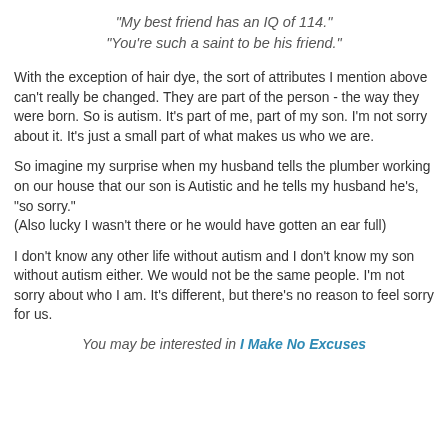"My best friend has an IQ of 114."
"You're such a saint to be his friend."
With the exception of hair dye, the sort of attributes I mention above can't really be changed. They are part of the person - the way they were born. So is autism. It's part of me, part of my son. I'm not sorry about it. It's just a small part of what makes us who we are.
So imagine my surprise when my husband tells the plumber working on our house that our son is Autistic and he tells my husband he's, "so sorry."
(Also lucky I wasn't there or he would have gotten an ear full)
I don't know any other life without autism and I don't know my son without autism either. We would not be the same people. I'm not sorry about who I am. It's different, but there's no reason to feel sorry for us.
You may be interested in I Make No Excuses